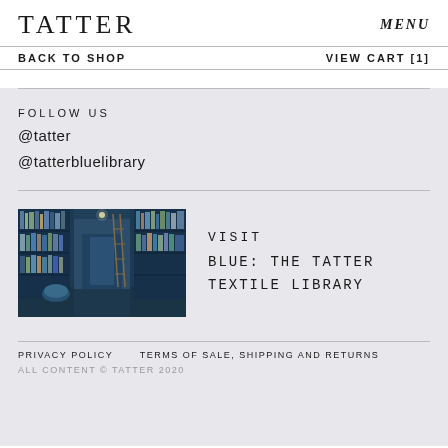TATTER
MENU
BACK TO SHOP    VIEW CART [1]
FOLLOW US
@tatter
@tatterbluelibrary
[Figure (photo): Interior photo of a library with blue-toned bookshelves floor to ceiling, a rolling ladder, and books arranged on shelves; moody blue lighting throughout.]
VISIT
BLUE: THE TATTER
TEXTILE LIBRARY
PRIVACY POLICY    TERMS OF SALE, SHIPPING AND RETURNS
ALL CONTENT © TATTER 2020